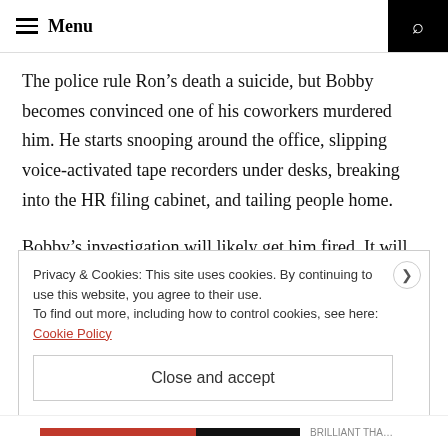Menu
The police rule Ron’s death a suicide, but Bobby becomes convinced one of his coworkers murdered him. He starts snooping around the office, slipping voice-activated tape recorders under desks, breaking into the HR filing cabinet, and tailing people home.
Bobby’s investigation will likely get him fired. It will possibly get him arrested. And if he isn’t careful, it just might get him killed.
Privacy & Cookies: This site uses cookies. By continuing to use this website, you agree to their use.
To find out more, including how to control cookies, see here: Cookie Policy
Close and accept